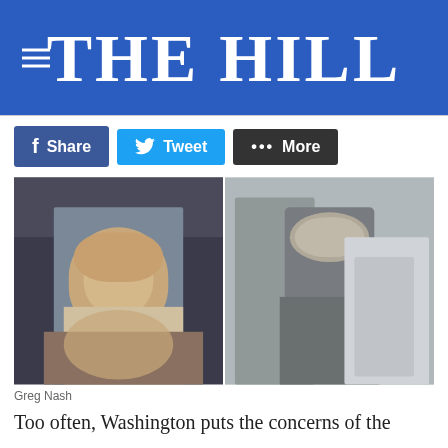THE HILL
[Figure (photo): Two photos side by side: left shows a man in a light blue shirt and yellow tie leaning over papers; right shows a man in a dark suit with green tie talking on a phone while walking, with other people in background. Photo credit: Greg Nash.]
Greg Nash
Too often, Washington puts the concerns of the